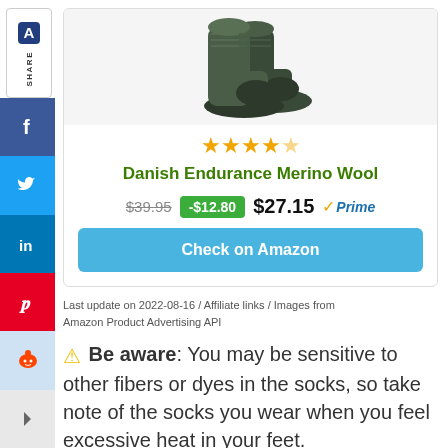[Figure (photo): Dark green/olive merino wool ankle socks product photo showing multiple socks]
[Figure (other): 4.5 out of 5 stars rating shown in yellow stars]
Danish Endurance Merino Wool
$39.95  -$12.80  $27.15  Prime
Check on Amazon
Last update on 2022-08-16 / Affiliate links / Images from Amazon Product Advertising API
Be aware: You may be sensitive to other fibers or dyes in the socks, so take note of the socks you wear when you feel excessive heat in your feet.